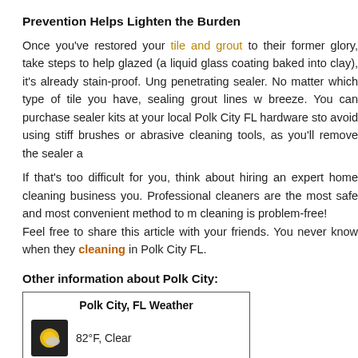Prevention Helps Lighten the Burden
Once you've restored your tile and grout to their former glory, take steps to help glazed (a liquid glass coating baked into clay), it's already stain-proof. Ung penetrating sealer. No matter which type of tile you have, sealing grout lines w breeze. You can purchase sealer kits at your local Polk City FL hardware sto avoid using stiff brushes or abrasive cleaning tools, as you'll remove the sealer a
If that's too difficult for you, think about hiring an expert home cleaning business you. Professional cleaners are the most safe and most convenient method to m cleaning is problem-free! Feel free to share this article with your friends. You never know when they cleaning in Polk City FL.
Other information about Polk City:
[Figure (infographic): Polk City FL Weather widget showing 82°F Clear with a weather icon and a partly cloudy icon below]